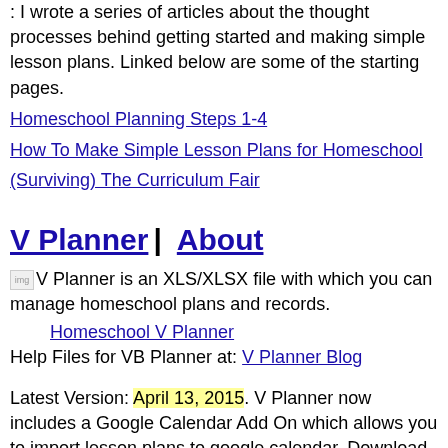: I wrote a series of articles about the thought processes behind getting started and making simple lesson plans. Linked below are some of the starting pages.
Homeschool Planning Steps 1-4
How To Make Simple Lesson Plans for Homeschool
(Surviving) The Curriculum Fair
V Planner | About
V Planner is an XLS/XLSX file with which you can manage homeschool plans and records.
Homeschool V Planner
Help Files for VB Planner at: V Planner Blog
Latest Version: April 13, 2015. V Planner now includes a Google Calendar Add On which allows you to import lesson plans to google calendar. Download from the Member's area.
Household